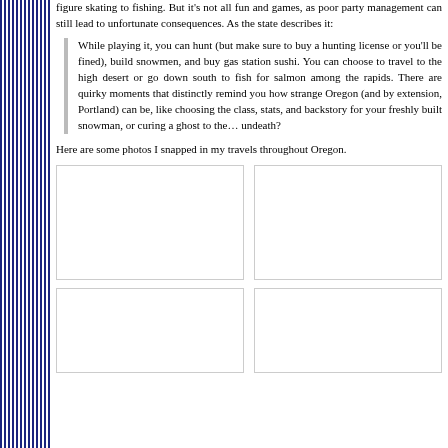figure skating to fishing. But it's not all fun and games, as poor party management can still lead to unfortunate consequences. As the state describes it:
While playing it, you can hunt (but make sure to buy a hunting license or you'll be fined), build snowmen, and buy gas station sushi. You can choose to travel to the high desert or go down south to fish for salmon among the rapids. There are quirky moments that distinctly remind you how strange Oregon (and by extension, Portland) can be, like choosing the class, stats, and backstory for your freshly built snowman, or curing a ghost to the… undeath?
Here are some photos I snapped in my travels throughout Oregon.
[Figure (photo): Photo placeholder box, top left]
[Figure (photo): Photo placeholder box, top right]
[Figure (photo): Photo placeholder box, bottom left]
[Figure (photo): Photo placeholder box, bottom right]